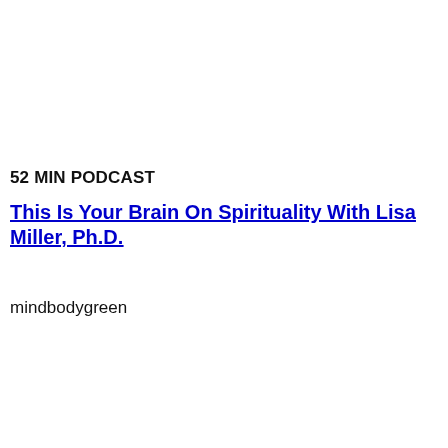52 MIN PODCAST
This Is Your Brain On Spirituality With Lisa Miller, Ph.D.
mindbodygreen